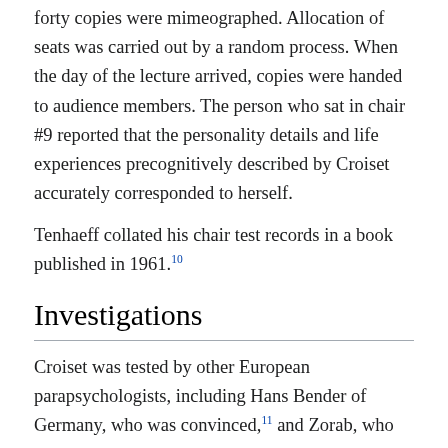forty copies were mimeographed. Allocation of seats was carried out by a random process. When the day of the lecture arrived, copies were handed to audience members. The person who sat in chair #9 reported that the personality details and life experiences precognitively described by Croiset accurately corresponded to herself.
Tenhaeff collated his chair test records in a book published in 1961.10
Investigations
Croiset was tested by other European parapsychologists, including Hans Bender of Germany, who was convinced,11 and Zorab, who believed Croiset combined true ability with cheating.12
American parapsychologists Aristide H Esser and Lawrence LeShan of the Center for the Study of Psychic